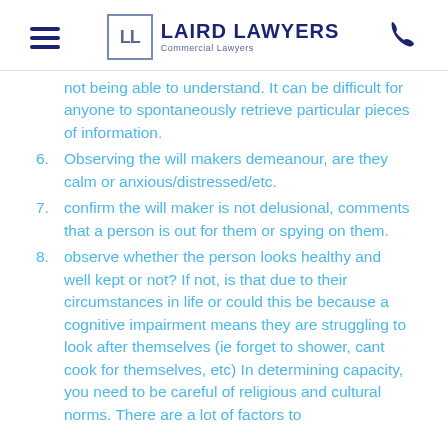Laird Lawyers — Commercial Lawyers
not being able to understand. It can be difficult for anyone to spontaneously retrieve particular pieces of information.
6. Observing the will makers demeanour, are they calm or anxious/distressed/etc.
7. confirm the will maker is not delusional, comments that a person is out for them or spying on them.
8. observe whether the person looks healthy and well kept or not? If not, is that due to their circumstances in life or could this be because a cognitive impairment means they are struggling to look after themselves (ie forget to shower, cant cook for themselves, etc) In determining capacity, you need to be careful of religious and cultural norms. There are a lot of factors to